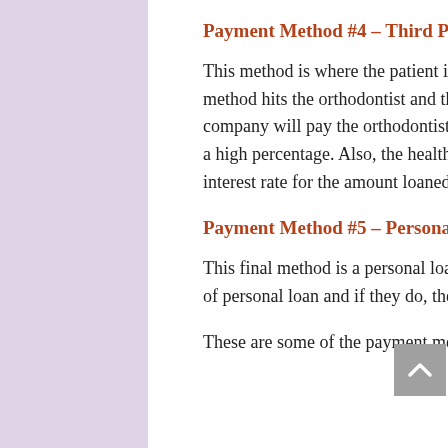Payment Method #4 – Third Party Credit Companies
This method is where the patient is approved by a health care credit card company. This method hits the orthodontist and the patient in the pocket book. The health care credit card company will pay the orthodontist in full less a certain percentage of the full fee. It is usually a high percentage. Also, the health care credit card company will charge the patient a high interest rate for the amount loaned. Try not to use this method.
Payment Method #5 – Personal Loan
This final method is a personal loan from a local bank. Most banks will not provide this type of personal loan and if they do, they will charge interest.
These are some of the payment methods that are